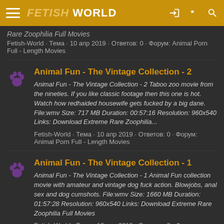FETISH WORLD
Rare Zoophilia Full Movies
Fetish-World · Тема · 10 апр 2019 · Ответов: 0 · Форум: Animal Porn Full - Length Movies
Animal Fun - The Vintage Collection - 2
Animal Fun - The Vintage Collection - 2 Taboo zoo movie from the nineties. If you like classic footage then this one is hot. Watch how redhaided housewife gets fucked by a big dane. File:wmv Size: 717 MB Duration: 00:57:16 Resolution: 960x540 Links: Download Extreme Rare Zoophilia...
Fetish-World · Тема · 10 апр 2019 · Ответов: 0 · Форум: Animal Porn Full - Length Movies
Animal Fun - The Vintage Collection - 1
Animal Fun - The Vintage Collection - 1 Animal Fun collection movie with amateur and vintage dog fuck action. Blowjobs, anal sex and dog cumshots. File:wmv Size: 1660 MB Duration: 01:57:28 Resolution: 960x540 Links: Download Extreme Rare Zoophilia Full Movies
Fetish-World · Тема · 10 апр 2019 · Ответов: 0 · Форум: Animal